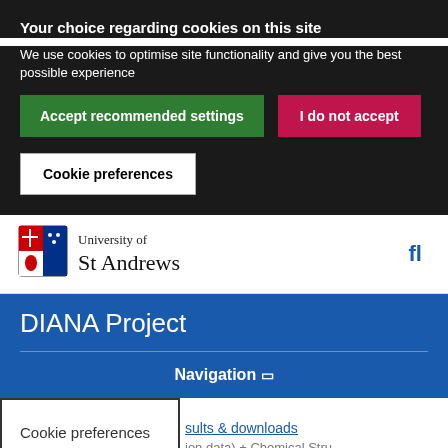Your choice regarding cookies on this site
We use cookies to optimise site functionality and give you the best possible experience
Accept recommended settings
I do not accept
Cookie preferences
[Figure (logo): University of St Andrews crest and name logo]
DIANA Project
Navigation
Cookie preferences
sults & downloads
ion data) + Chemical Stru...